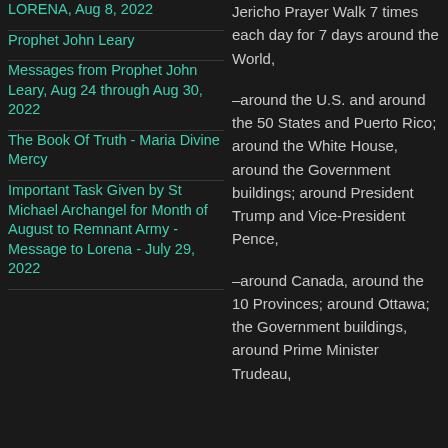LORENA, Aug 8, 2022
Prophet John Leary
Messages from Prophet John Leary, Aug 24 through Aug 30, 2022
The Book Of Truth - Maria Divine Mercy
Important Task Given by St Michael Archangel for Month of August to Remnant Army - Message to Lorena - July 29, 2022
Jericho Prayer Walk 7 times each day for 7 days around the World,
–around the U.S. and around the 50 States and Puerto Rico; around the White House, around the Government buildings; around President Trump and Vice-President Pence,
–around Canada, around the 10 Provinces; around Ottawa; the Government buildings, around Prime Minister Trudeau,